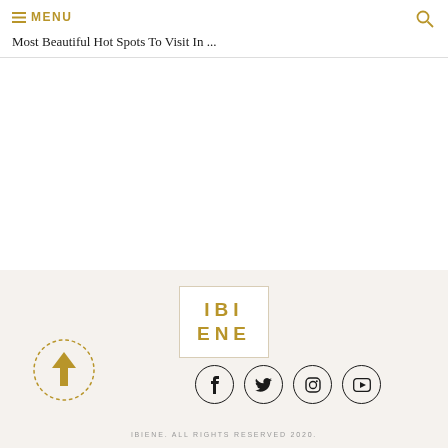≡ MENU | Most Beautiful Hot Spots To Visit In ...
[Figure (logo): IBIENE logo in gold letters inside a white bordered box on light beige background]
[Figure (illustration): Back to top button: gold upward arrow inside a dotted circle border]
[Figure (infographic): Social media icons: Facebook, Twitter, Instagram, YouTube — each in a thin black circle]
IBIENE. ALL RIGHTS RESERVED 2020.